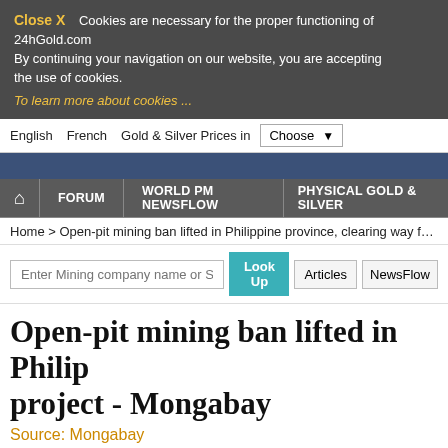Close X  Cookies are necessary for the proper functioning of 24hGold.com. By continuing your navigation on our website, you are accepting the use of cookies. To learn more about cookies ...
English  French  Gold & Silver Prices in  Choose
FORUM  WORLD PM NEWSFLOW  PHYSICAL GOLD & SILVER
Home > Open-pit mining ban lifted in Philippine province, clearing way for copper p
Open-pit mining ban lifted in Philipp project - Mongabay
Source: Mongabay
Related articles and keywords:   Copper - Mining
[Figure (photo): Close-up photo of a wire mesh or chain-link fence, beige/cream tones with dark diagonal wire lines]